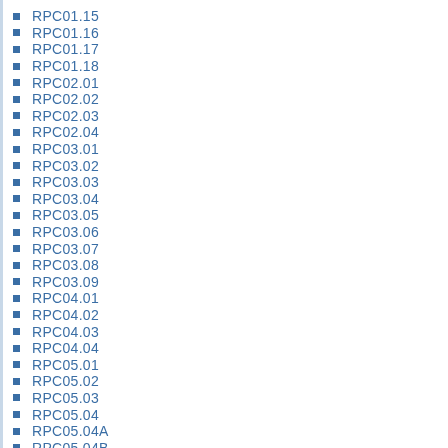RPC01.15
RPC01.16
RPC01.17
RPC01.18
RPC02.01
RPC02.02
RPC02.03
RPC02.04
RPC03.01
RPC03.02
RPC03.03
RPC03.04
RPC03.05
RPC03.06
RPC03.07
RPC03.08
RPC03.09
RPC04.01
RPC04.02
RPC04.03
RPC04.04
RPC05.01
RPC05.02
RPC05.03
RPC05.04
RPC05.04A
RPC05.04B